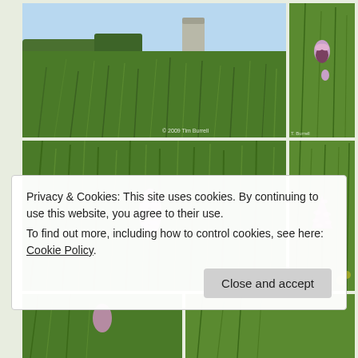[Figure (photo): Grid of nature/wildlife photographs showing grassland with a tower/silo, bee orchid flowers, and spotted orchid flowers in green meadow grass. Four main photos in a 2x2 grid plus two partial photos at the bottom.]
Privacy & Cookies: This site uses cookies. By continuing to use this website, you agree to their use.
To find out more, including how to control cookies, see here: Cookie Policy